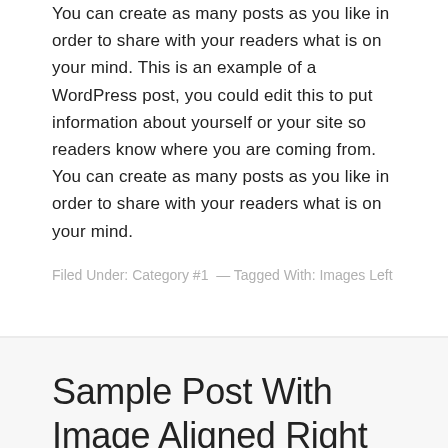You can create as many posts as you like in order to share with your readers what is on your mind. This is an example of a WordPress post, you could edit this to put information about yourself or your site so readers know where you are coming from. You can create as many posts as you like in order to share with your readers what is on your mind.
Filed Under: Category #1 — Tagged With: Images Left
Sample Post With Image Aligned Right
June 1, 2013 By Lauren Mancke — Leave a